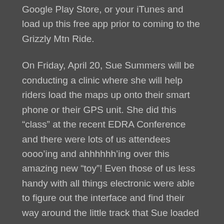Google Play Store, or your iTunes and load up this free app prior to coming to the Grizzly Mtn Ride.
On Friday, April 20, Sue Summers will be conducting a clinic where she will help riders load the maps up onto their smart phone or their GPS unit. She did this “class” at the recent EDRA Conference and there were lots of us attendees oooo’ing and ahhhhhh’ing over this amazing new “toy”! Even those of us less handy with all things electronic were able to figure out the interface and find their way around the little track that Sue loaded up for everyone. A few of us opted for the $20/year membership to have access to more options on the app.